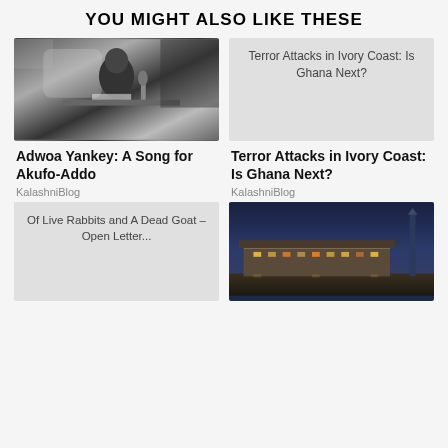YOU MIGHT ALSO LIKE THESE
[Figure (photo): Black and white photo of a man in a suit sitting at a desk with papers and microphone]
[Figure (other): Light grey placeholder card with text 'Terror Attacks in Ivory Coast: Is Ghana Next?']
Adwoa Yankey: A Song for Akufo-Addo
KalashniBlog
Terror Attacks in Ivory Coast: Is Ghana Next?
KalashniBlog
[Figure (other): Light grey placeholder card with text 'Of Live Rabbits and A Dead Goat – Open Letter...']
[Figure (photo): Color photo of a modern building complex at dusk/night with dramatic lighting]